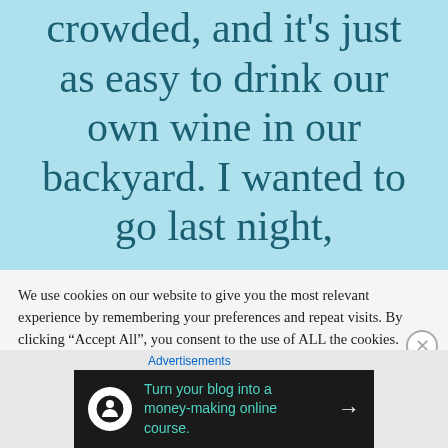crowded, and it's just as easy to drink our own wine in our backyard. I wanted to go last night,
We use cookies on our website to give you the most relevant experience by remembering your preferences and repeat visits. By clicking “Accept All”, you consent to the use of ALL the cookies. However, you may visit “Cookie Settings” to provide a controlled consent.
Advertisements
[Figure (infographic): Dark advertisement banner: 'Turn your blog into a money-making online course.' with an arrow icon and Teachable logo.]